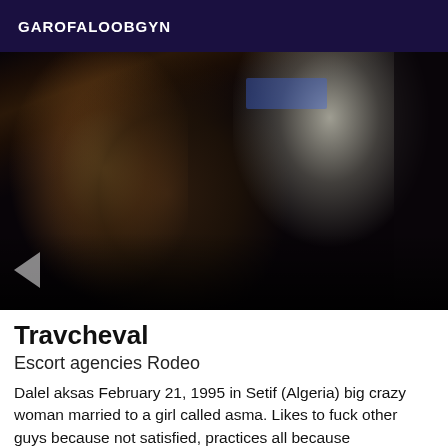GAROFALOOBGYN
[Figure (photo): Dark nightclub scene with people; a woman with long curly hair visible from behind, another person in a white top on the right, dark background with faint blue light.]
Travcheval
Escort agencies Rodeo
Dalel aksas February 21, 1995 in Setif (Algeria) big crazy woman married to a girl called asma. Likes to fuck other guys because not satisfied, practices all because